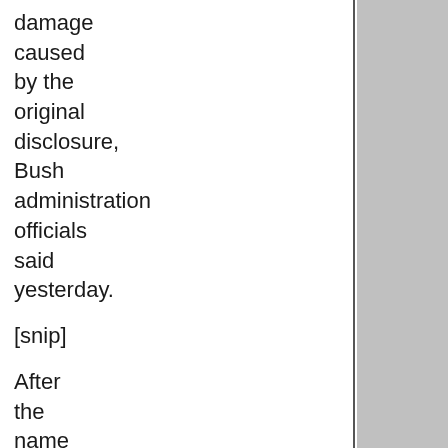damage caused by the original disclosure, Bush administration officials said yesterday.
[snip]
After the name of the company was broadcast yesterday, administration officials confirmed